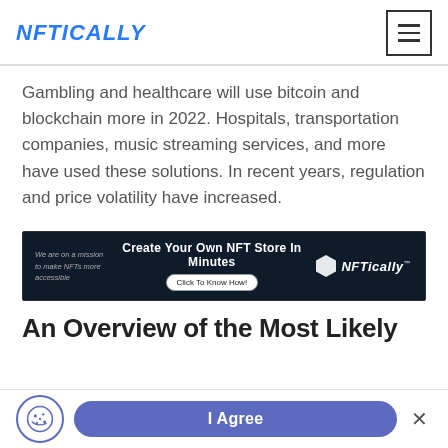NFTICALLY
Gambling and healthcare will use bitcoin and blockchain more in 2022. Hospitals, transportation companies, music streaming services, and more have used these solutions. In recent years, regulation and price volatility have increased.
[Figure (screenshot): NFTically advertisement banner: dark background with text 'Create Your Own NFT Store In Minutes', a 'Click To Know How!' button, and the NFTically logo on the right.]
An Overview of the Most Likely